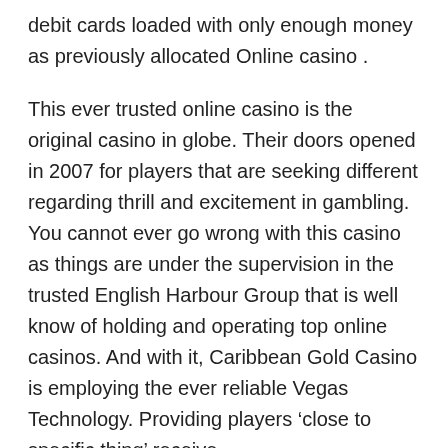debit cards loaded with only enough money as previously allocated Online casino .
This ever trusted online casino is the original casino in globe. Their doors opened in 2007 for players that are seeking different regarding thrill and excitement in gambling. You cannot ever go wrong with this casino as things are under the supervision in the trusted English Harbour Group that is well know of holding and operating top online casinos. And with it, Caribbean Gold Casino is employing the ever reliable Vegas Technology. Providing players ‘close to specific thing’ receive.
Here are some helpful approaches to selecting the most effective online casino slot motions. First, all of these